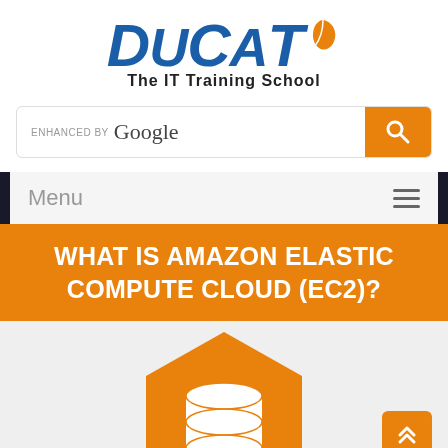[Figure (logo): DUCAT - The IT Training School logo with orange leaf accent]
[Figure (screenshot): Enhanced by Google search bar with orange search button]
Menu
WHAT IS AMAZON ELASTIC COMPUTE CLOUD (EC2)?
[Figure (illustration): Orange hexagon with white database/server stack icon on grey background, and orange back-to-top button in bottom right]